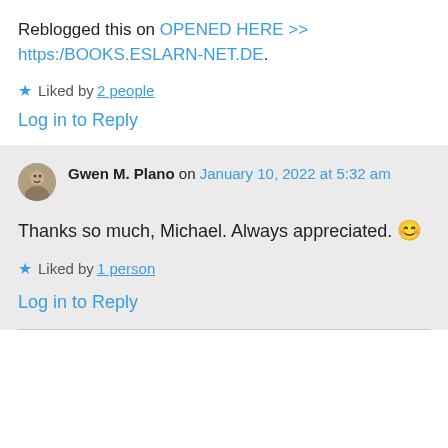Reblogged this on OPENED HERE >> https:/BOOKS.ESLARN-NET.DE.
★ Liked by 2 people
Log in to Reply
Gwen M. Plano on January 10, 2022 at 5:32 am
Thanks so much, Michael. Always appreciated. 😊
★ Liked by 1 person
Log in to Reply